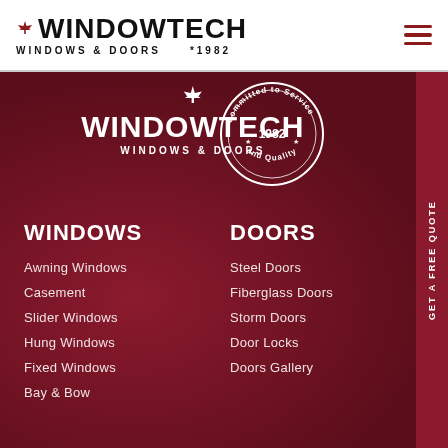WINDOWTECH WINDOWS & DOORS *1982
[Figure (logo): Windowtech Windows & Doors logo with maple leaf, circular seal reading Committed to Service and Quality, 1982]
WINDOWS
DOORS
Awning Windows
Casement
Slider Windows
Hung Windows
Fixed Windows
Bay & Bow
Steel Doors
Fiberglass Doors
Storm Doors
Door Locks
Doors Gallery
GET A FREE QUOTE